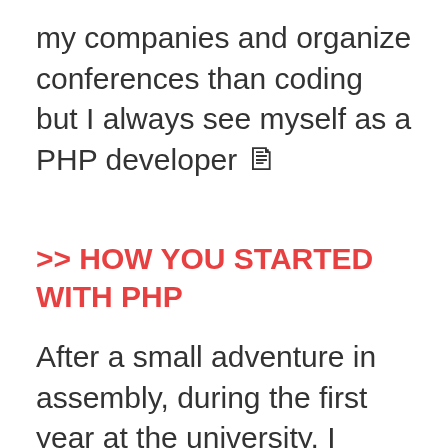my companies and organize conferences than coding but I always see myself as a PHP developer 🙂
>> HOW YOU STARTED WITH PHP
After a small adventure in assembly, during the first year at the university, I started a little